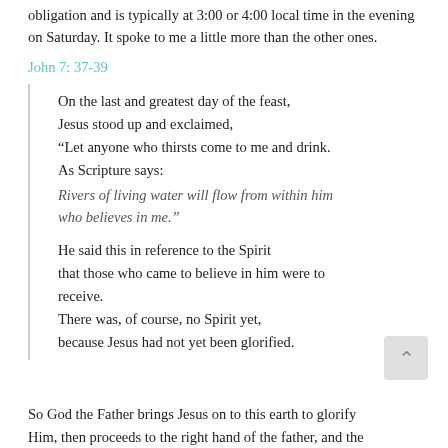obligation and is typically at 3:00 or 4:00 local time in the evening on Saturday. It spoke to me a little more than the other ones.
John 7: 37-39
On the last and greatest day of the feast, Jesus stood up and exclaimed, “Let anyone who thirsts come to me and drink. As Scripture says:
Rivers of living water will flow from within him who believes in me.”

He said this in reference to the Spirit that those who came to believe in him were to receive.
There was, of course, no Spirit yet, because Jesus had not yet been glorified.
So God the Father brings Jesus on to this earth to glorify Him, then proceeds to the right hand of the father, and the